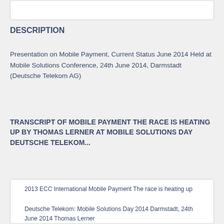DESCRIPTION
Presentation on Mobile Payment, Current Status June 2014 Held at Mobile Solutions Conference, 24th June 2014, Darmstadt (Deutsche Telekom AG)
TRANSCRIPT OF MOBILE PAYMENT THE RACE IS HEATING UP BY THOMAS LERNER AT MOBILE SOLUTIONS DAY DEUTSCHE TELEKOM...
2013 ECC International Mobile Payment The race is heating up Deutsche Telekom: Mobile Solutions Day 2014 Darmstadt, 24th June 2014 Thomas Lerner
2013 ECC International One more thing (Apples Schachzge im Mobile Payment) Thomas Lerner Proximity Payments still the biggest piece of